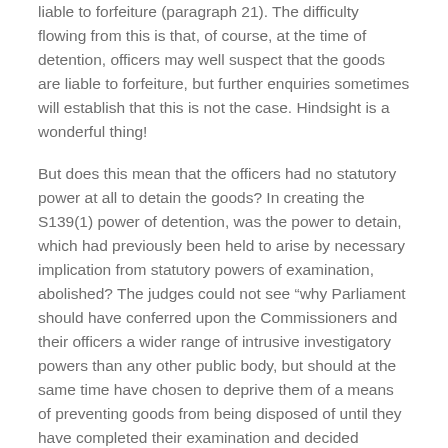liable to forfeiture (paragraph 21). The difficulty flowing from this is that, of course, at the time of detention, officers may well suspect that the goods are liable to forfeiture, but further enquiries sometimes will establish that this is not the case. Hindsight is a wonderful thing!
But does this mean that the officers had no statutory power at all to detain the goods? In creating the S139(1) power of detention, was the power to detain, which had previously been held to arise by necessary implication from statutory powers of examination, abolished? The judges could not see “why Parliament should have conferred upon the Commissioners and their officers a wider range of intrusive investigatory powers than any other public body, but should at the same time have chosen to deprive them of a means of preventing goods from being disposed of until they have completed their examination and decided whether the goods should be seized” (paragraph 45).